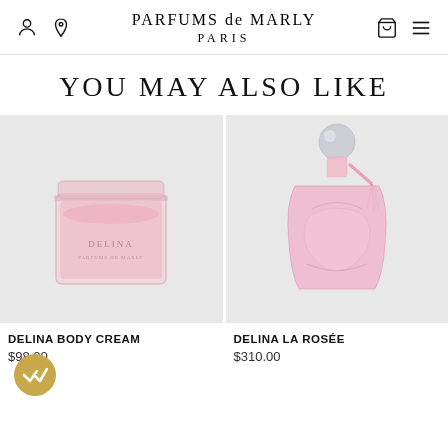PARFUMS de MARLY PARIS
YOU MAY ALSO LIKE
[Figure (photo): Delina body cream jar in pink glass with lid, soft pink background]
[Figure (photo): Delina La Rosée perfume bottle in pink with silver ball cap and pink tassel, soft background]
DELINA BODY CREAM
$98.00
DELINA LA ROSÉE
$310.00